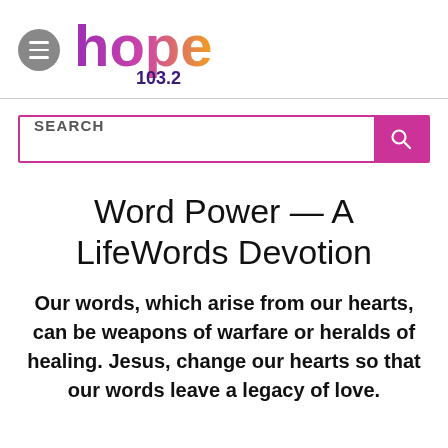[Figure (logo): Hope 103.2 radio station logo with hamburger menu icon. The word 'hope' is rendered in a gradient from purple to orange, with '103.2' in dark purple below.]
Word Power — A LifeWords Devotion
Our words, which arise from our hearts, can be weapons of warfare or heralds of healing. Jesus, change our hearts so that our words leave a legacy of love.